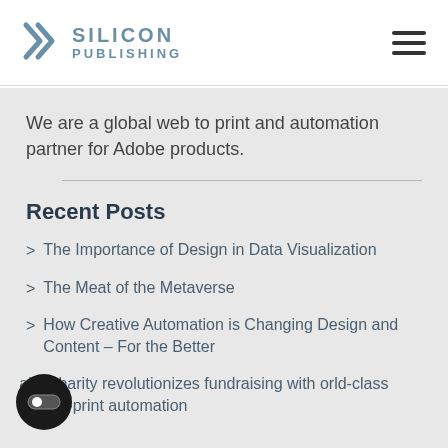SILICON PUBLISHING
We are a global web to print and automation partner for Adobe products.
Recent Posts
The Importance of Design in Data Visualization
The Meat of the Metaverse
How Creative Automation is Changing Design and Content – For the Better
Major charity revolutionizes fundraising with world-class web-to-print automation